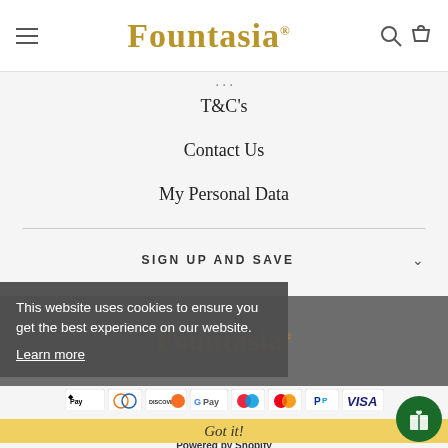Fountasia
T&C's
Contact Us
My Personal Data
SIGN UP AND SAVE
[Figure (logo): Fountasia logo in gold serif font]
This website uses cookies to ensure you get the best experience on our website. Learn more
[Figure (infographic): Payment method icons: Apple Pay, Diners Club, Discover, Google Pay, Maestro, Mastercard, PayPal, Visa]
© 2022 Fountasia | Website by SP Design & Web
Got it!
Powered by Shopify